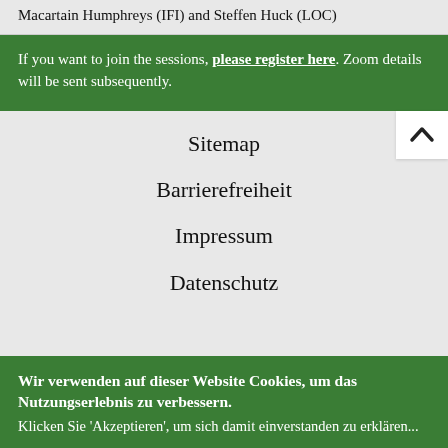Macartain Humphreys (IFI) and Steffen Huck (LOC)
If you want to join the sessions, please register here. Zoom details will be sent subsequently.
Sitemap
Barrierefreiheit
Impressum
Datenschutz
Wir verwenden auf dieser Website Cookies, um das Nutzungserlebnis zu verbessern.
Klicken Sie 'Akzeptieren', um sich damit einverstanden zu erklären...